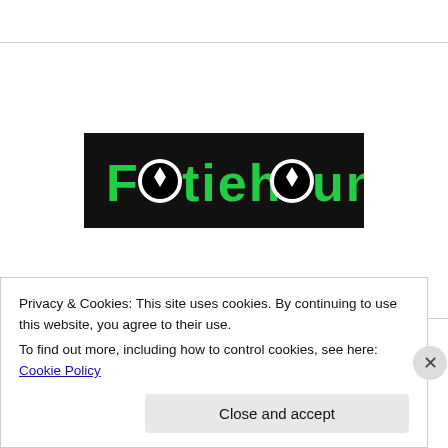[Figure (logo): Footiehound logo - green text on black background]
[Figure (logo): Football Weeks logo - black square with white checkmark icon and text]
[Figure (logo): FOOT-BALL logo partially visible - red circle icon with text]
Privacy & Cookies: This site uses cookies. By continuing to use this website, you agree to their use.
To find out more, including how to control cookies, see here: Cookie Policy
Close and accept